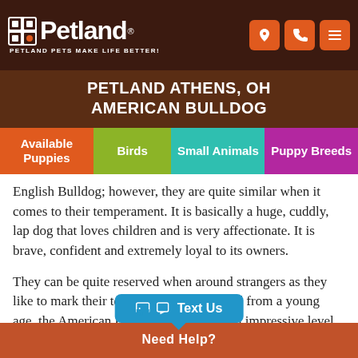Petland — Petland Pets Make Life Better!
PETLAND ATHENS, OH AMERICAN BULLDOG
Available Puppies
Birds
Small Animals
Puppy Breeds
English Bulldog; however, they are quite similar when it comes to their temperament. It is basically a huge, cuddly, lap dog that loves children and is very affectionate. It is brave, confident and extremely loyal to its owners.
They can be quite reserved when around strangers as they like to mark their territories. When trained from a young age, the American Bulldog will display an impressive level of intelligence. They are not so friendly with other strange dogs and mostly like to keep to themselves.
Text Us  Need Help?